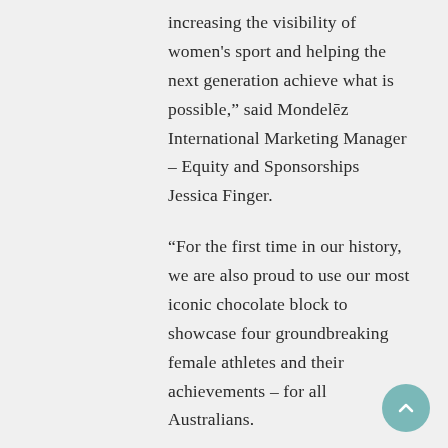increasing the visibility of women's sport and helping the next generation achieve what is possible," said Mondelēz International Marketing Manager – Equity and Sponsorships Jessica Finger.

"For the first time in our history, we are also proud to use our most iconic chocolate block to showcase four groundbreaking female athletes and their achievements – for all Australians.